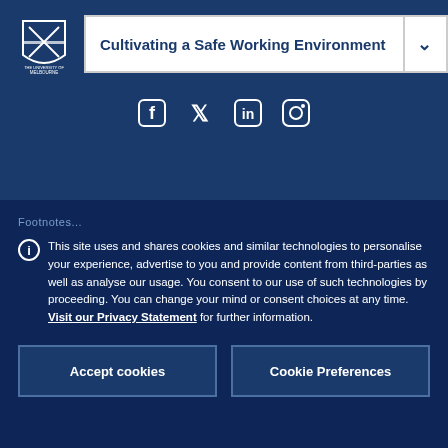[Figure (logo): University of Melbourne logo/crest in white on dark blue background]
Cultivating a Safe Working Environment
[Figure (infographic): Social media icons: Facebook, Twitter, LinkedIn, Instagram in white on dark blue background]
Footnotes...
This site uses and shares cookies and similar technologies to personalise your experience, advertise to you and provide content from third-parties as well as analyse our usage. You consent to our use of such technologies by proceeding. You can change your mind or consent choices at any time. Visit our Privacy Statement for further information.
Accept cookies
Cookie Preferences